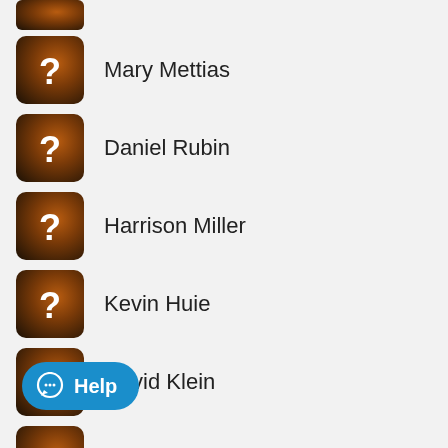(partial top item)
Mary Mettias
Daniel Rubin
Harrison Miller
Kevin Huie
David Klein
...Huck (partially visible, Help button overlaid)
(partial bottom item)
[Figure (other): Blue Help button with chat bubble icon and label 'Help']